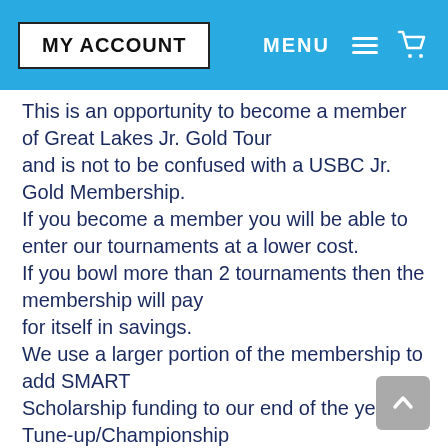MY ACCOUNT   MENU   [cart icon]
This is an opportunity to become a member of Great Lakes Jr. Gold Tour and is not to be confused with a USBC Jr. Gold Membership. If you become a member you will be able to enter our tournaments at a lower cost. If you bowl more than 2 tournaments then the membership will pay for itself in savings. We use a larger portion of the membership to add SMART Scholarship funding to our end of the year Tune-up/Championship in June 2022. We will produce a member card, and hand this to you at the event.